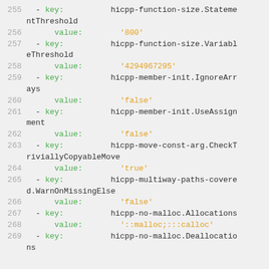255   - key:      hicpp-function-size.StatementThreshold
256       value:   '800'
257   - key:      hicpp-function-size.VariableThreshold
258       value:   '4294967295'
259   - key:      hicpp-member-init.IgnoreArrays
260       value:   'false'
261   - key:      hicpp-member-init.UseAssignment
262       value:   'false'
263   - key:      hicpp-move-const-arg.CheckTriviallyCopyableMove
264       value:   'true'
265   - key:      hicpp-multiway-paths-covered.WarnOnMissingElse
266       value:   'false'
267   - key:      hicpp-no-malloc.Allocations
268       value:   '::malloc;:::calloc'
269   - key:      hicpp-no-malloc.Deallocations